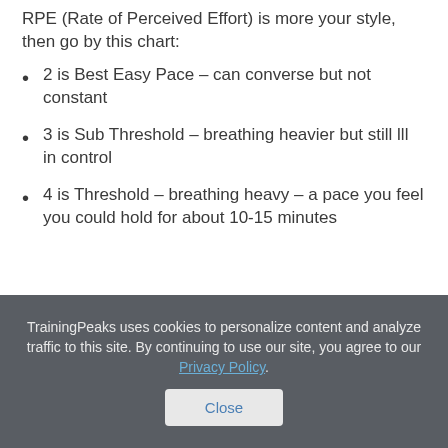RPE (Rate of Perceived Effort) is more your style, then go by this chart:
2 is Best Easy Pace – can converse but not constant
3 is Sub Threshold – breathing heavier but still lll in control
4 is Threshold – breathing heavy – a pace you feel you could hold for about 10-15 minutes
TrainingPeaks uses cookies to personalize content and analyze traffic to this site. By continuing to use our site, you agree to our Privacy Policy.
Close